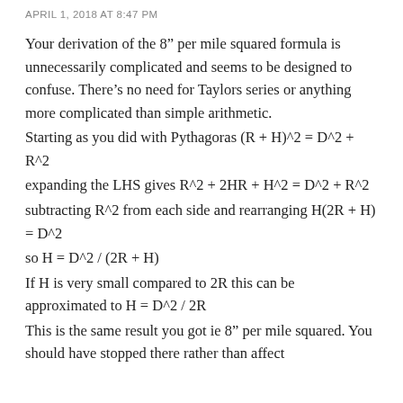APRIL 1, 2018 AT 8:47 PM
Your derivation of the 8″ per mile squared formula is unnecessarily complicated and seems to be designed to confuse. There’s no need for Taylors series or anything more complicated than simple arithmetic.
Starting as you did with Pythagoras (R + H)^2 = D^2 + R^2
expanding the LHS gives R^2 + 2HR + H^2 = D^2 + R^2
subtracting R^2 from each side and rearranging H(2R + H) = D^2
so H = D^2 / (2R + H)
If H is very small compared to 2R this can be approximated to H = D^2 / 2R
This is the same result you got ie 8″ per mile squared. You should have stopped there rather than affect